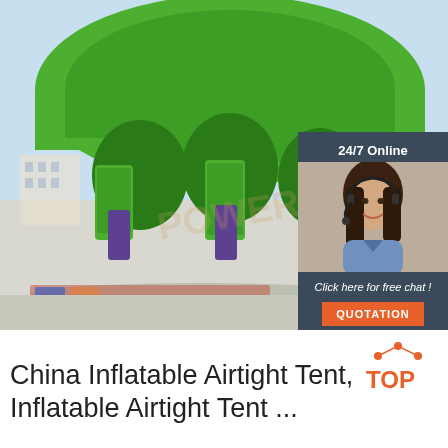[Figure (photo): Large green and purple inflatable airtight tent structure set up outdoors on a paved surface, with a light blue sky background. A customer service chat widget is overlaid on the right side showing a woman wearing a headset with text '24/7 Online' and a 'QUOTATION' button.]
China Inflatable Airtight Tent, Inflatable Airtight Tent ...